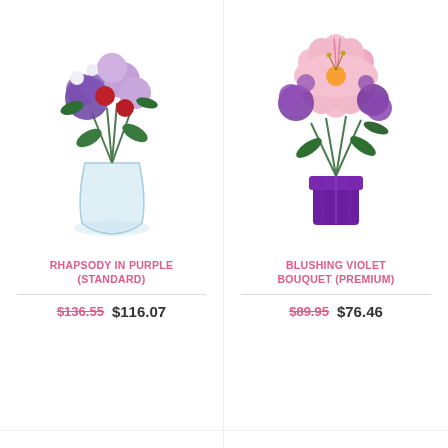[Figure (photo): Purple and red flower bouquet in clear glass vase - Rhapsody in Purple Standard]
RHAPSODY IN PURPLE (STANDARD)
$136.55  $116.07
[Figure (photo): Pink lily and purple flower bouquet in purple vase - Blushing Violet Bouquet Premium]
BLUSHING VIOLET BOUQUET (PREMIUM)
$89.95  $76.46
[Figure (photo): Customer's Favorite - Dark pink and purple rose bouquet in hot pink square vase]
[Figure (other): Loading spinner with pastel colored oval shapes arranged in a circle]